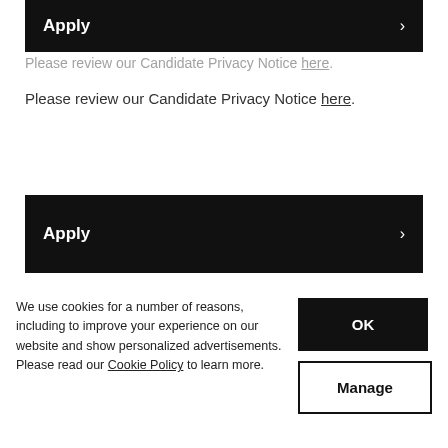[Figure (screenshot): Black Apply button bar at top (partially clipped)]
Please review our Candidate Privacy Notice here. (clipped/faded partial line)
Please review our Candidate Privacy Notice here.
[Figure (screenshot): Black Apply button bar with right arrow]
[Figure (photo): Photo of tall forest trees with green foliage]
We use cookies for a number of reasons, including to improve your experience on our website and show personalized advertisements. Please read our Cookie Policy to learn more.
OK
Manage